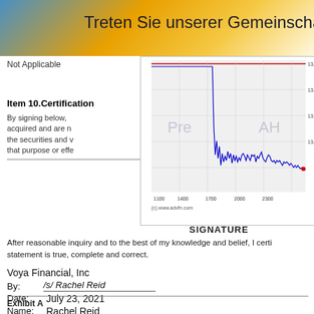Treten Sie unserer Gemeinscha
Not Applicable
[Figure (continuous-plot): Stock price intraday chart showing price fluctuations between approximately 13.15 and 13.35, with Pre and AH market markers, x-axis showing times from 1100 to 2300+, y-axis from ~13.15 to 13.35. Source: (c) www.advfn.com]
Item 10.Certification
By signing below, acquired and are n the securities and v that purpose or effe
SIGNATURE
After reasonable inquiry and to the best of my knowledge and belief, I certi statement is true, complete and correct.
Voya Financial, Inc
By:    /s/ Rachel Reid
Date: July 23, 2021
Name: Rachel Reid
Title:   Senior VP, Corporate Secretary
Exhibit A